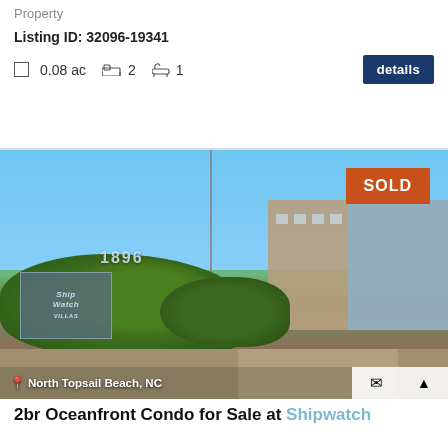Property
Listing ID: 32096-19341
0.08 ac  2  1
[Figure (photo): Exterior photo of Shipwatch Villas oceanfront condo complex at 1896 North Topsail Beach, NC. Shows lush green bushes, stone sign with 'Ship Watch Villas' branding, multi-story condo building in background, blue sky. Orange 'SOLD' badge in top right corner.]
North Topsail Beach, NC
2br Oceanfront Condo for Sale at Shipwatch Villas